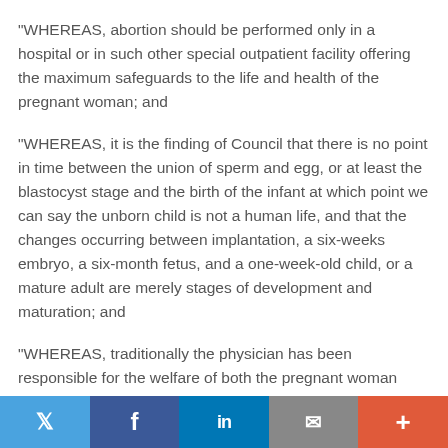"WHEREAS, abortion should be performed only in a hospital or in such other special outpatient facility offering the maximum safeguards to the life and health of the pregnant woman; and
"WHEREAS, it is the finding of Council that there is no point in time between the union of sperm and egg, or at least the blastocyst stage and the birth of the infant at which point we can say the unborn child is not a human life, and that the changes occurring between implantation, a six-weeks embryo, a six-month fetus, and a one-week-old child, or a mature adult are merely stages of development and maturation; and
"WHEREAS, traditionally the physician has been responsible for the welfare of both the pregnant woman
Twitter Facebook LinkedIn Email Plus